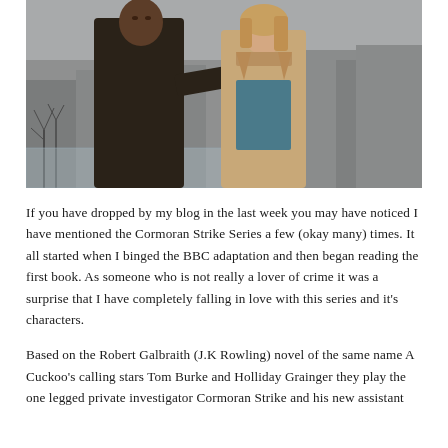[Figure (photo): A man and a woman standing outdoors on a rooftop or balcony in winter. The man is tall, wearing a dark coat, standing to the left. The woman is wearing a light beige coat, standing to the right. Urban background with bare trees and buildings visible behind them. Scene appears cold and overcast — a promotional photo for the BBC TV series Strike.]
If you have dropped by my blog in the last week you may have noticed I have mentioned the Cormoran Strike Series a few (okay many) times. It all started when I binged the BBC adaptation and then began reading the first book. As someone who is not really a lover of crime it was a surprise that I have completely falling in love with this series and it's characters.
Based on the Robert Galbraith (J.K Rowling) novel of the same name A Cuckoo's calling stars Tom Burke and Holliday Grainger they play the one legged private investigator Cormoran Strike and his new assistant